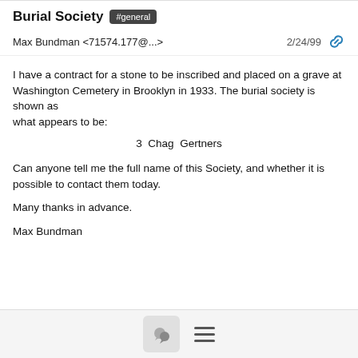Burial Society #general
Max Bundman <71574.177@...>   2/24/99
I have a contract for a stone to be inscribed and placed on a grave at
Washington Cemetery in Brooklyn in 1933.  The burial society is shown as
what appears to be:
3  Chag  Gertners
Can anyone tell me the full name of this Society, and whether it is possible to contact them today.
Many thanks in advance.
Max Bundman
[Figure (screenshot): Bottom navigation bar with comment bubble icon and hamburger menu icon]